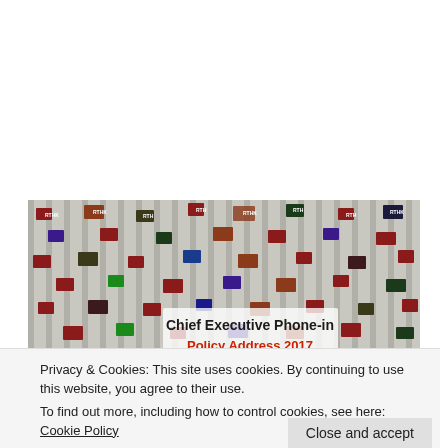[Figure (photo): A press backdrop with repeated RTHK logos showing text 'Chief Executive Phone-in Policy Address 2017' in black and red text. Several people's heads are visible at the bottom of the image.]
Privacy & Cookies: This site uses cookies. By continuing to use this website, you agree to their use.
To find out more, including how to control cookies, see here: Cookie Policy
[Figure (photo): Bottom strip of another photo showing a red and dark background, partially visible.]